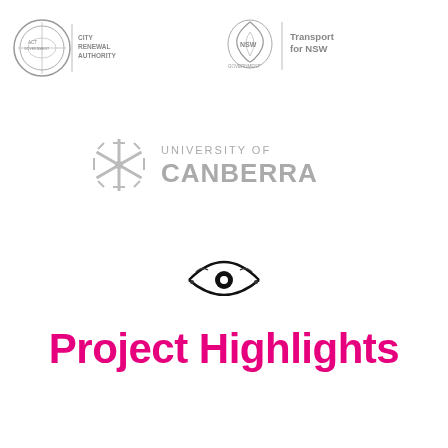[Figure (logo): ACT Government and City Renewal Authority logo (grey)]
[Figure (logo): NSW Government and Transport for NSW logo (grey)]
[Figure (logo): University of Canberra logo (grey snowflake symbol with text)]
[Figure (logo): Small black eye/hands stylized logo]
Project Highlights